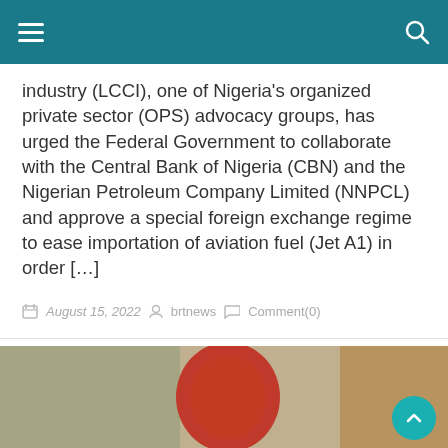Navigation bar with hamburger menu and search icon
industry (LCCI), one of Nigeria's organized private sector (OPS) advocacy groups, has urged the Federal Government to collaborate with the Central Bank of Nigeria (CBN) and the Nigerian Petroleum Company Limited (NNPCL) and approve a special foreign exchange regime to ease importation of aviation fuel (Jet A1) in order […]
August 15, 2022  brtnews  Comment(0)
[Figure (photo): Partial view of a person wearing a red outfit, with blurred background]